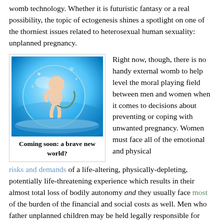womb technology. Whether it is futuristic fantasy or a real possibility, the topic of ectogenesis shines a spotlight on one of the thorniest issues related to heterosexual human sexuality: unplanned pregnancy.
[Figure (photo): A fetus/baby floating in a blue liquid-filled sphere, representing artificial womb technology]
Coming soon: a brave new world?
Right now, though, there is no handy external womb to help level the moral playing field between men and women when it comes to decisions about preventing or coping with unwanted pregnancy. Women must face all of the emotional and physical risks and demands of a life-altering, physically-depleting, potentially life-threatening experience which results in their almost total loss of bodily autonomy and they usually face most of the burden of the financial and social costs as well. Men who father unplanned children may be held legally responsible for some, none or all of the pregnancy-related medical costs in addition to nearly two decades of child support - if they accept the responsibilities of paternity (or can be proven to be the